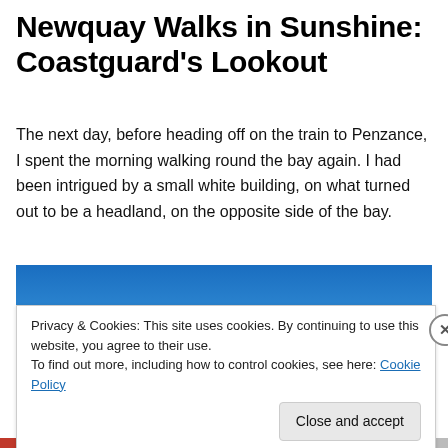Newquay Walks in Sunshine: Coastguard's Lookout
The next day, before heading off on the train to Penzance, I spent the morning walking round the bay again. I had been intrigued by a small white building, on what turned out to be a headland, on the opposite side of the bay.
[Figure (photo): Blue sky photograph with a dark diagonal line (possibly a flag pole or antenna) in the lower left, showing coastline scene.]
Privacy & Cookies: This site uses cookies. By continuing to use this website, you agree to their use.
To find out more, including how to control cookies, see here: Cookie Policy
Close and accept